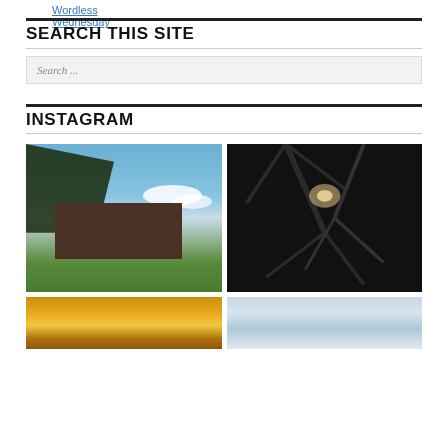Wordless Wednesday
SEARCH THIS SITE
Search ...
INSTAGRAM
[Figure (photo): Outdoor photo of a rustic wooden barn with a rusted metal roof, surrounded by green grass and trees against a blue sky with white clouds]
[Figure (photo): Dark nighttime photo of tree silhouettes against a dark sky with a bright glow of sun or moon visible through the branches]
[Figure (photo): Partial view of a golden/orange photo, possibly a sunset or field scene]
[Figure (photo): Partial view of a pale blue-grey sky photo]